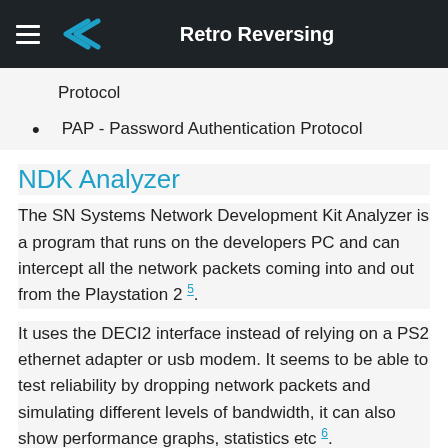Retro Reversing
Protocol
PAP - Password Authentication Protocol
NDK Analyzer
The SN Systems Network Development Kit Analyzer is a program that runs on the developers PC and can intercept all the network packets coming into and out from the Playstation 2 5.
It uses the DECI2 interface instead of relying on a PS2 ethernet adapter or usb modem. It seems to be able to test reliability by dropping network packets and simulating different levels of bandwidth, it can also show performance graphs, statistics etc 6.
I presume this system worked very similar to Wireshark, it would be great to get a screenshot of it running.